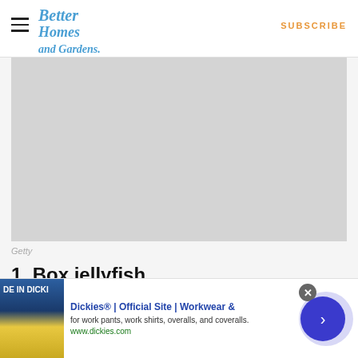Better Homes and Gardens | SUBSCRIBE
[Figure (photo): Large gray placeholder image, likely a nature or lifestyle photo]
Getty
1. Box jellyfish
[Figure (screenshot): Advertisement banner: Dickies® | Official Site | Workwear & - for work pants, work shirts, overalls, and coveralls. www.dickies.com]